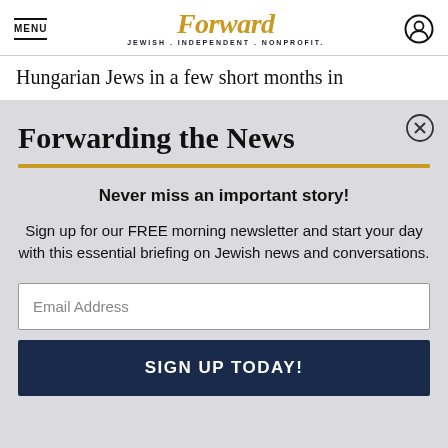MENU | Forward — JEWISH. INDEPENDENT. NONPROFIT.
Hungarian Jews in a few short months in
Forwarding the News
Never miss an important story!
Sign up for our FREE morning newsletter and start your day with this essential briefing on Jewish news and conversations.
Email Address
SIGN UP TODAY!